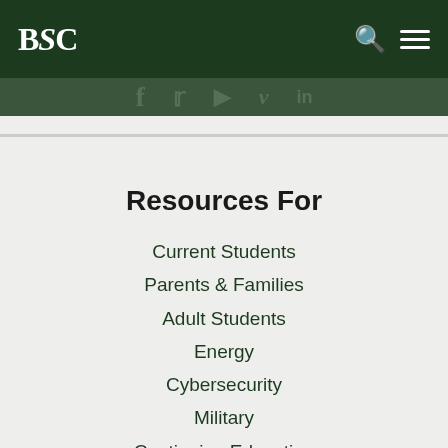BSC
Resources For
Current Students
Parents & Families
Adult Students
Energy
Cybersecurity
Military
Continuing Education
Faculty & Staff
Alumni & Foundation